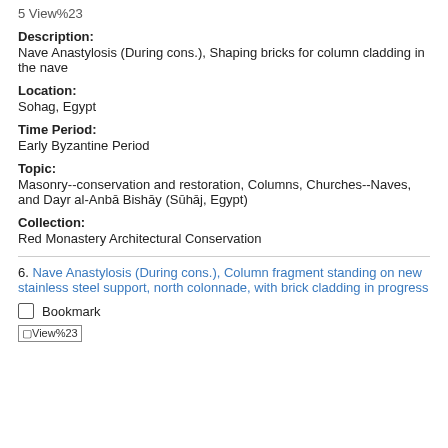5 View%23
Description:
Nave Anastylosis (During cons.), Shaping bricks for column cladding in the nave
Location:
Sohag, Egypt
Time Period:
Early Byzantine Period
Topic:
Masonry--conservation and restoration, Columns, Churches--Naves, and Dayr al-Anbā Bishāy (Sūhāj, Egypt)
Collection:
Red Monastery Architectural Conservation
6. Nave Anastylosis (During cons.), Column fragment standing on new stainless steel support, north colonnade, with brick cladding in progress
Bookmark
[Figure (other): View%23 icon/image link]